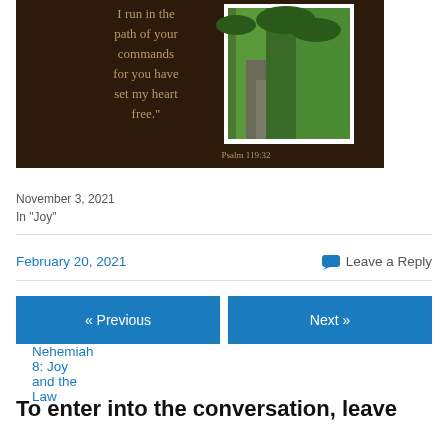[Figure (illustration): Dark brown background with golden/tan text reading 'I run in the path of your commands for you have set my heart free.' with a framed photo of a wooded path inset on the right, and 'Psalm 119:32' text at bottom]
Nehemiah 8: Joy and the Law
November 3, 2021
In "Joy"
February 20, 2021
Leave a Reply
« Previous
Next »
To enter into the conversation, leave